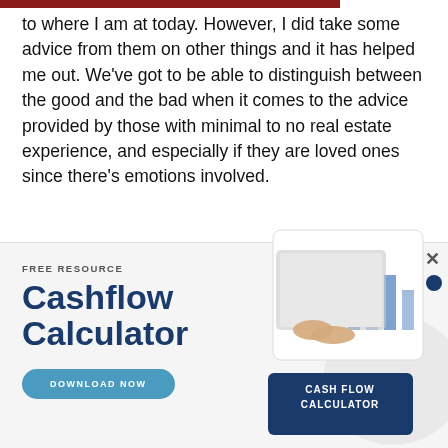to where I am at today. However, I did take some advice from them on other things and it has helped me out. We've got to be able to distinguish between the good and the bad when it comes to the advice provided by those with minimal to no real estate experience, and especially if they are loved ones since there's emotions involved.
[Figure (infographic): Advertisement for a free Cashflow Calculator resource. Left side shows 'FREE RESOURCE' label, large bold text 'Cashflow Calculator', and a 'DOWNLOAD NOW' button. Right side shows a photo of hands using a tablet with financial charts, and a dark blue card labeled 'CASH FLOW CALCULATOR'. Top right has a close X button and a dark blue dot.]